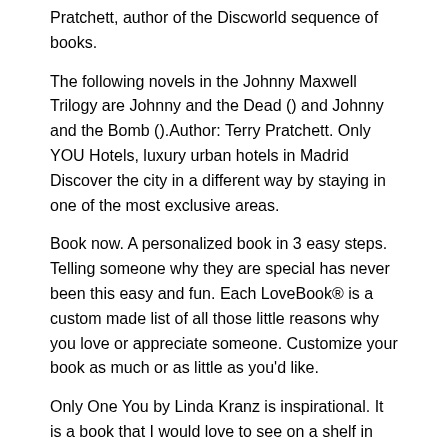Pratchett, author of the Discworld sequence of books.
The following novels in the Johnny Maxwell Trilogy are Johnny and the Dead () and Johnny and the Bomb ().Author: Terry Pratchett. Only YOU Hotels, luxury urban hotels in Madrid Discover the city in a different way by staying in one of the most exclusive areas.
Book now. A personalized book in 3 easy steps. Telling someone why they are special has never been this easy and fun. Each LoveBook® is a custom made list of all those little reasons why you love or appreciate someone. Customize your book as much or as little as you'd like.
Only One You by Linda Kranz is inspirational. It is a book that I would love to see on a shelf in every home. The messages within are valid for adults and children. Only One You by Linda Kranz is.
Sep 20,  · Lincoln Heights Elementary School's interpretation of Linda Kranz's book only one you. Music was written and composed by Lincoln Heights students and music teacher Ms.